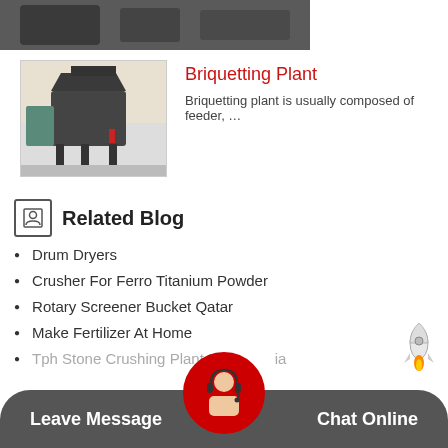[Figure (photo): Top partial image of industrial machinery in a factory, dark colored equipment]
[Figure (photo): Briquetting plant machinery photo showing large industrial press equipment in a factory setting]
Briquetting Plant
Briquetting plant is usually composed of feeder, …
Related Blog
Drum Dryers
Crusher For Ferro Titanium Powder
Rotary Screener Bucket Qatar
Make Fertilizer At Home
Tph Stone Crushing Plant In India
Leave Message  Chat Online